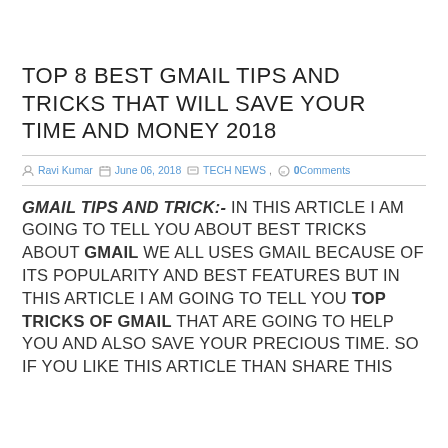TOP 8 BEST GMAIL TIPS AND TRICKS THAT WILL SAVE YOUR TIME AND MONEY 2018
Ravi Kumar  June 06, 2018  TECH NEWS ,  0Comments
GMAIL TIPS AND TRICK:- IN THIS ARTICLE I AM GOING TO TELL YOU ABOUT BEST TRICKS ABOUT GMAIL WE ALL USES GMAIL BECAUSE OF ITS POPULARITY AND BEST FEATURES BUT IN THIS ARTICLE I AM GOING TO TELL YOU TOP TRICKS OF GMAIL THAT ARE GOING TO HELP YOU AND ALSO SAVE YOUR PRECIOUS TIME. SO IF YOU LIKE THIS ARTICLE THAN SHARE THIS